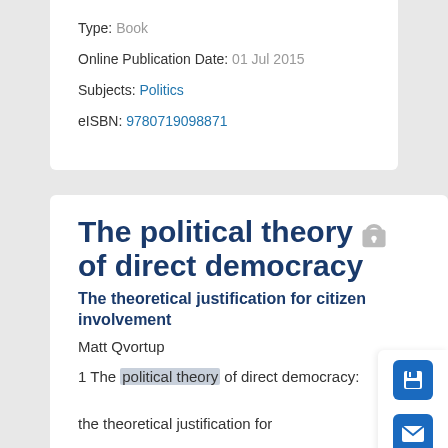Type: Book
Online Publication Date: 01 Jul 2015
Subjects: Politics
eISBN: 9780719098871
The political theory of direct democracy
The theoretical justification for citizen involvement
Matt Qvortup
1 The political theory of direct democracy: the theoretical justification for citizen involvement Since the French Revolution and certainly for the better part